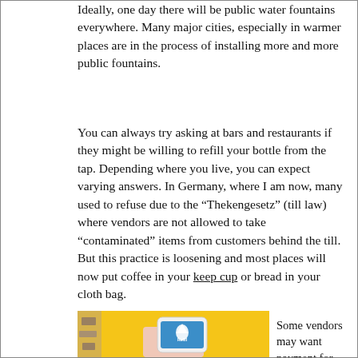Ideally, one day there will be public water fountains everywhere. Many major cities, especially in warmer places are in the process of installing more and more public fountains.
You can always try asking at bars and restaurants if they might be willing to refill your bottle from the tap. Depending where you live, you can expect varying answers. In Germany, where I am now, many used to refuse due to the “Thekengesetz” (till law) where vendors are not allowed to take “contaminated” items from customers behind the till. But this practice is loosening and most places will now put coffee in your keep cup or bread in your cloth bag.
[Figure (photo): A hand holding a white smartphone with a blue screen showing the 'Refill' app logo (a water droplet with stylized text), against a yellow background.]
Some vendors may want payment for their tap water. Or try to sell you their bottled water instead, making up random “rules”.